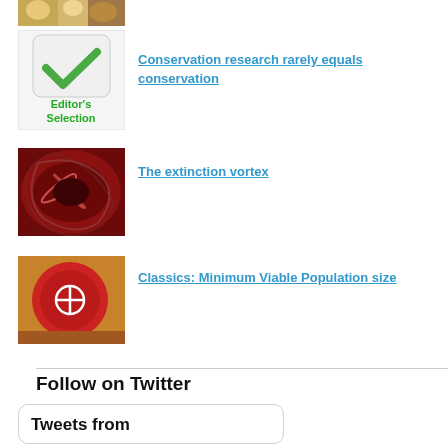[Figure (photo): Partial thumbnail image of food items at top, cropped]
[Figure (illustration): Editor's Selection badge with green checkmark icon and green text reading Editor's Selection]
Conservation research rarely equals conservation
[Figure (photo): Red spiral/vortex abstract image]
The extinction vortex
[Figure (photo): Red cup with white peace/asterisk symbol on wooden surface]
Classics: Minimum Viable Population size
Follow on Twitter
Tweets from